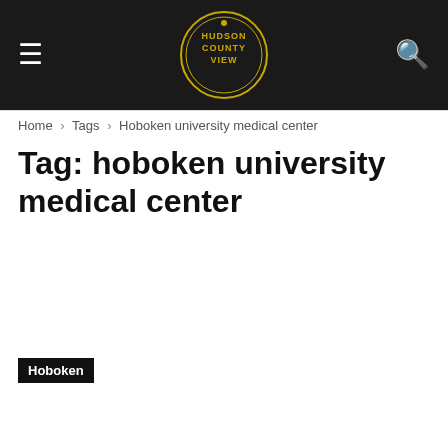Hudson County View — header with hamburger menu, logo, and search icon
Home › Tags › Hoboken university medical center
Tag: hoboken university medical center
Hoboken